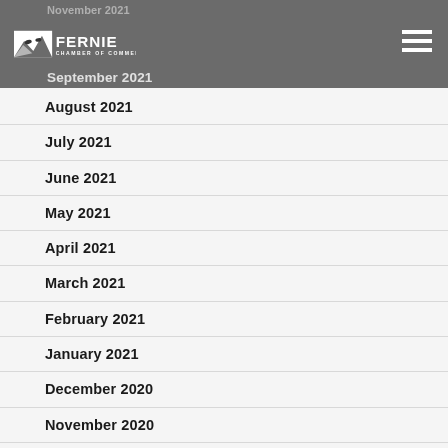November 2021 | Fernie Chamber of Commerce | September 2021
August 2021
July 2021
June 2021
May 2021
April 2021
March 2021
February 2021
January 2021
December 2020
November 2020
October 2020